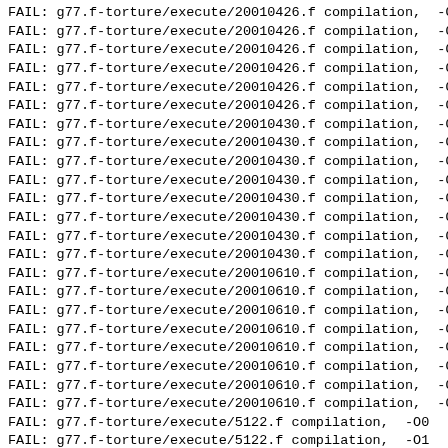FAIL: g77.f-torture/execute/20010426.f compilation,  -O0
FAIL: g77.f-torture/execute/20010426.f compilation,  -O1
FAIL: g77.f-torture/execute/20010426.f compilation,  -O2
FAIL: g77.f-torture/execute/20010426.f compilation,  -O3
FAIL: g77.f-torture/execute/20010426.f compilation,  -O3
FAIL: g77.f-torture/execute/20010426.f compilation,  -Os
FAIL: g77.f-torture/execute/20010430.f compilation,  -O0
FAIL: g77.f-torture/execute/20010430.f compilation,  -O1
FAIL: g77.f-torture/execute/20010430.f compilation,  -O2
FAIL: g77.f-torture/execute/20010430.f compilation,  -O3
FAIL: g77.f-torture/execute/20010430.f compilation,  -O3
FAIL: g77.f-torture/execute/20010430.f compilation,  -O3
FAIL: g77.f-torture/execute/20010430.f compilation,  -O3
FAIL: g77.f-torture/execute/20010430.f compilation,  -Os
FAIL: g77.f-torture/execute/20010610.f compilation,  -O0
FAIL: g77.f-torture/execute/20010610.f compilation,  -O1
FAIL: g77.f-torture/execute/20010610.f compilation,  -O2
FAIL: g77.f-torture/execute/20010610.f compilation,  -O3
FAIL: g77.f-torture/execute/20010610.f compilation,  -O3
FAIL: g77.f-torture/execute/20010610.f compilation,  -O3
FAIL: g77.f-torture/execute/20010610.f compilation,  -O3
FAIL: g77.f-torture/execute/20010610.f compilation,  -Os
FAIL: g77.f-torture/execute/5122.f compilation,  -O0
FAIL: g77.f-torture/execute/5122.f compilation,  -O1
FAIL: g77.f-torture/execute/5122.f compilation,  -O2
FAIL: g77.f-torture/execute/5122.f compilation,  -O3 -fomit-frame-pointer
FAIL: g77.f-torture/execute/5122.f compilation,  -O3 -g
FAIL: g77.f-torture/execute/5122.f compilation,  -Os
FAIL: g77.f-torture/execute/6177.f compilation,  -O0
FAIL: g77.f-torture/execute/6177.f compilation,  -O1